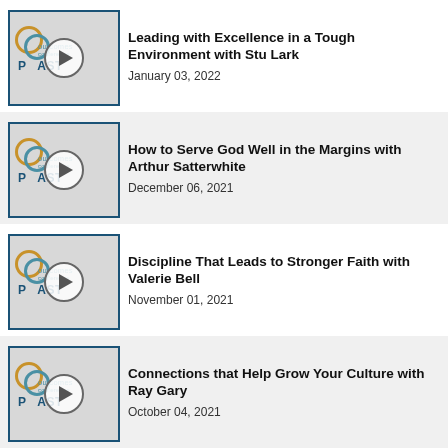[Figure (other): Outcomes Conference Podcast thumbnail with play button]
Leading with Excellence in a Tough Environment with Stu Lark
January 03, 2022
[Figure (other): Outcomes Conference Podcast thumbnail with play button]
How to Serve God Well in the Margins with Arthur Satterwhite
December 06, 2021
[Figure (other): Outcomes Conference Podcast thumbnail with play button]
Discipline That Leads to Stronger Faith with Valerie Bell
November 01, 2021
[Figure (other): Outcomes Conference Podcast thumbnail with play button]
Connections that Help Grow Your Culture with Ray Gary
October 04, 2021